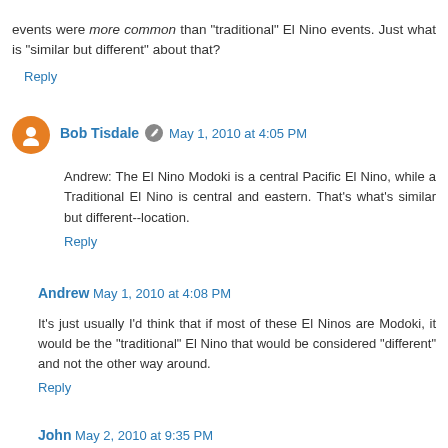events were more common than "traditional" El Nino events. Just what is "similar but different" about that?
Reply
Bob Tisdale [edit icon] May 1, 2010 at 4:05 PM
Andrew: The El Nino Modoki is a central Pacific El Nino, while a Traditional El Nino is central and eastern. That's what's similar but different--location.
Reply
Andrew May 1, 2010 at 4:08 PM
It's just usually I'd think that if most of these El Ninos are Modoki, it would be the "traditional" El Nino that would be considered "different" and not the other way around.
Reply
John May 2, 2010 at 9:35 PM